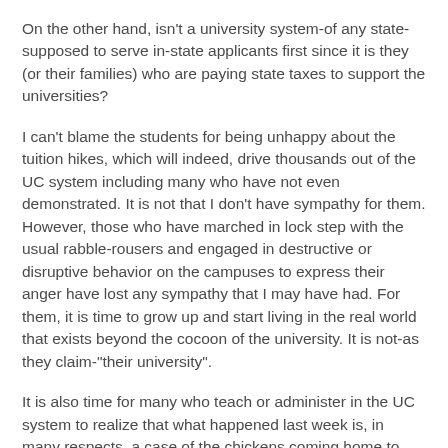On the other hand, isn't a university system-of any state-supposed to serve in-state applicants first since it is they (or their families) who are paying state taxes to support the universities?
I can't blame the students for being unhappy about the tuition hikes, which will indeed, drive thousands out of the UC system including many who have not even demonstrated. It is not that I don't have sympathy for them. However, those who have marched in lock step with the usual rabble-rousers and engaged in destructive or disruptive behavior on the campuses to express their anger have lost any sympathy that I may have had. For them, it is time to grow up and start living in the real world that exists beyond the cocoon of the university. It is not-as they claim-"their university".
It is also time for many who teach or administer in the UC system to realize that what happened last week is, in many respects, a case of the chickens coming home to roost. Many of these students were putting to use some of the things that they probably learned from some of their